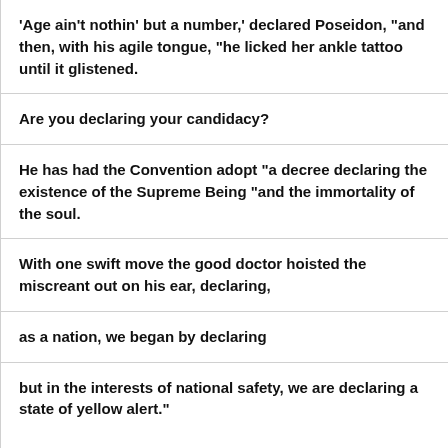'Age ain't nothin' but a number,' declared Poseidon, "and then, with his agile tongue, "he licked her ankle tattoo until it glistened.
Are you declaring your candidacy?
He has had the Convention adopt "a decree declaring the existence of the Supreme Being "and the immortality of the soul.
With one swift move the good doctor hoisted the miscreant out on his ear, declaring,
as a nation, we began by declaring
but in the interests of national safety, we are declaring a state of yellow alert."